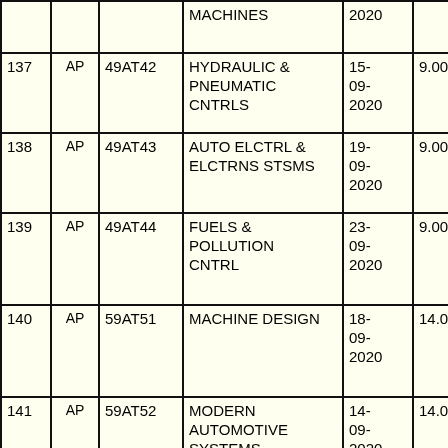| Sr. | Type | Code | Subject | Date | Time1 | Time2 |
| --- | --- | --- | --- | --- | --- | --- |
|  |  |  | MACHINES | 2020 |  |  |
| 137 | AP | 49AT42 | HYDRAULIC & PNEUMATIC CNTRLS | 15-09-2020 | 9.00 | 12.00 |
| 138 | AP | 49AT43 | AUTO ELCTRL & ELCTRNS STSMS | 19-09-2020 | 9.00 | 12.00 |
| 139 | AP | 49AT44 | FUELS & POLLUTION CNTRL | 23-09-2020 | 9.00 | 12.00 |
| 140 | AP | 59AT51 | MACHINE DESIGN | 18-09-2020 | 14.00 | 17.00 |
| 141 | AP | 59AT52 | MODERN AUTOMOTIVE SYSTEMS | 14-09-2020 | 14.00 | 17.00 |
| 142 | AP | 59AT53 | VEHICLE MGMT & | 22-09- | 14.00 | 17.00 |